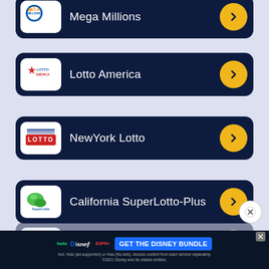[Figure (infographic): Mega Millions lottery row with logo and arrow button (partially visible at top)]
[Figure (infographic): Lotto America lottery row with logo and arrow button]
[Figure (infographic): NewYork Lotto lottery row with logo and arrow button]
[Figure (infographic): California SuperLotto-Plus lottery row with logo and arrow button]
[Figure (infographic): Texas Lotto lottery row (partially visible, faded)]
[Figure (screenshot): Disney Bundle advertisement banner: hulu, Disney+, ESPN+, GET THE DISNEY BUNDLE. Incl. Hulu (ad-supported) or Hulu (No Ads). Access content from each service separately. ©2021 Disney and its related entities.]